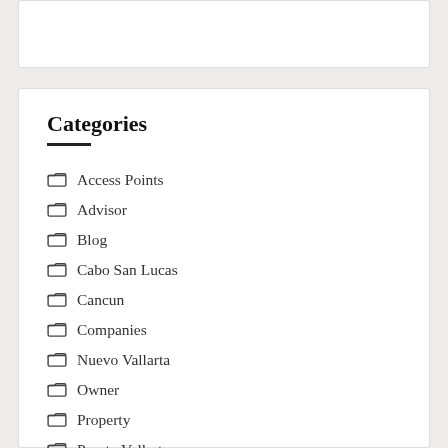Categories
Access Points
Advisor
Blog
Cabo San Lucas
Cancun
Companies
Nuevo Vallarta
Owner
Property
Puerto Vallarta